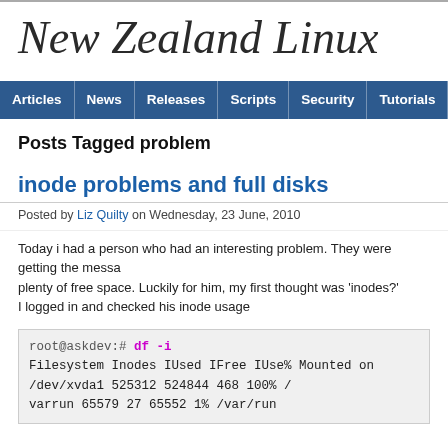New Zealand Linux
Articles | News | Releases | Scripts | Security | Tutorials | Uncate
Posts Tagged problem
inode problems and full disks
Posted by Liz Quilty on Wednesday, 23 June, 2010
Today i had a person who had an interesting problem. They were getting the messa plenty of free space. Luckily for him, my first thought was 'inodes?' I logged in and checked his inode usage
root@askdev:# df -i
Filesystem Inodes IUsed IFree IUse% Mounted on
/dev/xvda1 525312 524844 468 100% /
varrun 65579 27 65552 1% /var/run